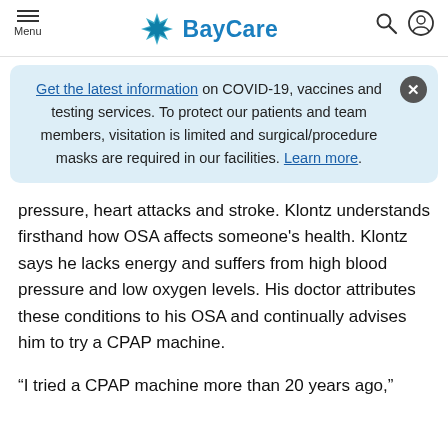Menu | BayCare
Get the latest information on COVID-19, vaccines and testing services. To protect our patients and team members, visitation is limited and surgical/procedure masks are required in our facilities. Learn more.
pressure, heart attacks and stroke. Klontz understands firsthand how OSA affects someone's health. Klontz says he lacks energy and suffers from high blood pressure and low oxygen levels. His doctor attributes these conditions to his OSA and continually advises him to try a CPAP machine.
“I tried a CPAP machine more than 20 years ago,”